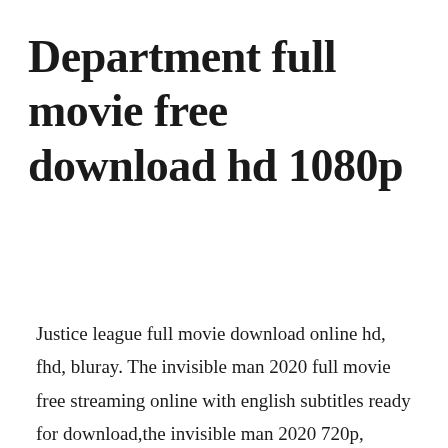Department full movie free download hd 1080p
Justice league full movie download online hd, fhd, bluray. The invisible man 2020 full movie free streaming online with english subtitles ready for download,the invisible man 2020 720p, 1080p, brrip, dvdrip, high quality.